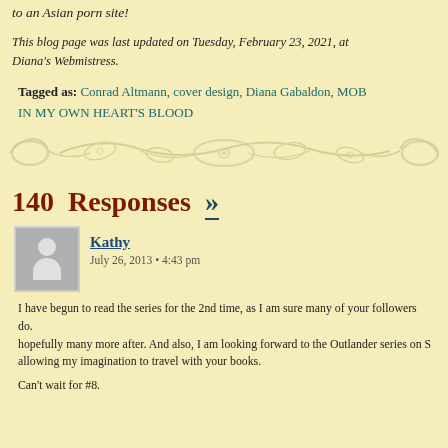to an Asian porn site!
This blog page was last updated on Tuesday, February 23, 2021, at ... Diana's Webmistress.
Tagged as: Conrad Altmann, cover design, Diana Gabaldon, MOBY... IN MY OWN HEART'S BLOOD
[Figure (illustration): Decorative floral/vine divider banner in pale green/gold tones]
140 Responses »
Kathy
July 26, 2013 • 4:43 pm
I have begun to read the series for the 2nd time, as I am sure many of your followers do. hopefully many more after. And also, I am looking forward to the Outlander series on S... allowing my imagination to travel with your books.

Can't wait for #8.